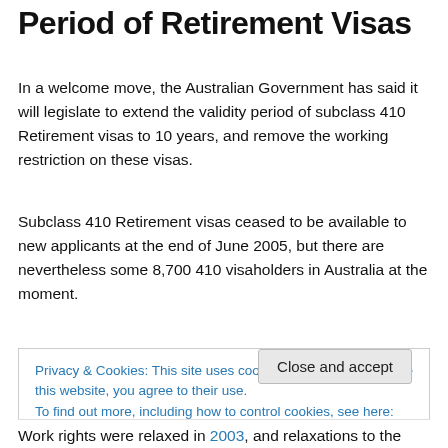Period of Retirement Visas
In a welcome move, the Australian Government has said it will legislate to extend the validity period of subclass 410 Retirement visas to 10 years, and remove the working restriction on these visas.
Subclass 410 Retirement visas ceased to be available to new applicants at the end of June 2005, but there are nevertheless some 8,700 410 visaholders in Australia at the moment.
Privacy & Cookies: This site uses cookies. By continuing to use this website, you agree to their use.
To find out more, including how to control cookies, see here: Cookie Policy
Work rights were relaxed in 2003, and relaxations to the